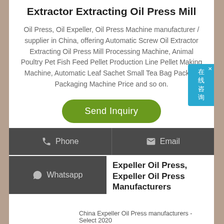Extractor Extracting Oil Press Mill
Oil Press, Oil Expeller, Oil Press Machine manufacturer / supplier in China, offering Automatic Screw Oil Extractor Extracting Oil Press Mill Processing Machine, Animal Poultry Pet Fish Feed Pellet Production Line Pellet Making Machine, Automatic Leaf Sachet Small Tea Bag Packing Packaging Machine Price and so on.
[Figure (other): Send Inquiry green rounded button]
[Figure (other): Phone and Email contact buttons in dark grey bar]
[Figure (other): Whatsapp contact button in dark grey]
[Figure (other): Online chat popup with Chinese characters 在线咨询 on the right side]
Expeller Oil Press, Expeller Oil Press Manufacturers
China Expeller Oil Press manufacturers - Select 2020